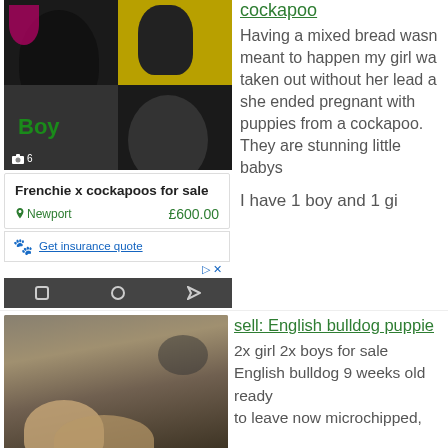[Figure (photo): Photos of black puppies in a 2x2 grid, with 'Boy' label in green text, and a photo counter showing camera icon and 6]
Frenchie x cockapoos for sale
Newport   £600.00
Get insurance quote
cockapoo
Having a mixed bread wasn meant to happen my girl wa taken out without her lead a she ended pregnant with puppies from a cockapoo. They are stunning little babys

I have 1 boy and 1 gi
[Figure (photo): Photo of English bulldog puppies lying together on what appears to be a couch or surface]
sell: English bulldog puppie
2x girl 2x boys for sale
English bulldog 9 weeks old ready
to leave now microchipped,